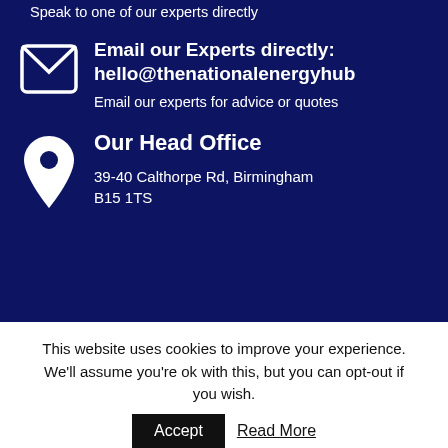Speak to one of our experts directly
Email our Experts directly: hello@thenationalenergyhub
Email our experts for advice or quotes
Our Head Office
39-40 Calthorpe Rd, Birmingham B15 1TS
This website uses cookies to improve your experience. We'll assume you're ok with this, but you can opt-out if you wish.
Accept
Read More